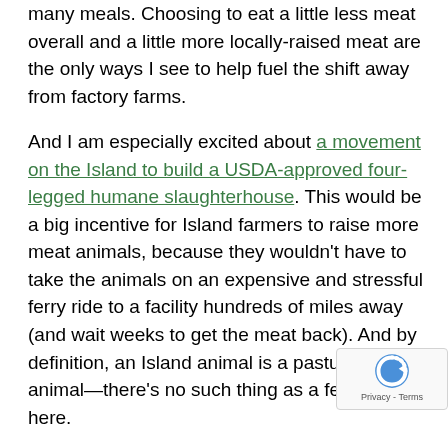many meals. Choosing to eat a little less meat overall and a little more locally-raised meat are the only ways I see to help fuel the shift away from factory farms.
And I am especially excited about a movement on the Island to build a USDA-approved four-legged humane slaughterhouse. This would be a big incentive for Island farmers to raise more meat animals, because they wouldn't have to take the animals on an expensive and stressful ferry ride to a facility hundreds of miles away (and wait weeks to get the meat back). And by definition, an Island animal is a pastured animal—there's no such thing as a feedlot here.
Most ludicrous is the thought that I might disdain eating our own pig and then turn around and go to the grocery store and buy a package of bacon (which I will do—there is certainly no point in pretending that I will never eat bacon again). T would be like giving the factory farms a big thumbs up poking a stick in the eye of all the efforts to return animal